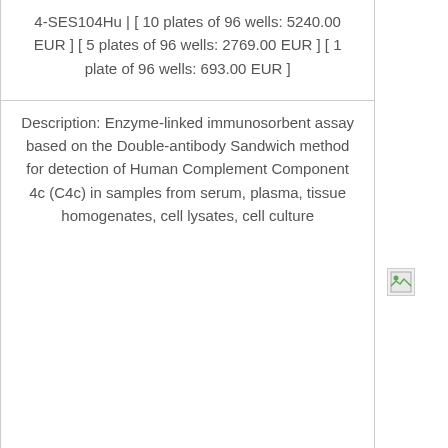4-SES104Hu | [ 10 plates of 96 wells: 5240.00 EUR ] [ 5 plates of 96 wells: 2769.00 EUR ] [ 1 plate of 96 wells: 693.00 EUR ]
Description: Enzyme-linked immunosorbent assay based on the Double-antibody Sandwich method for detection of Human Complement Component 4c (C4c) in samples from serum, plasma, tissue homogenates, cell lysates, cell culture
[Figure (other): Broken/missing image icon (small thumbnail placeholder)]